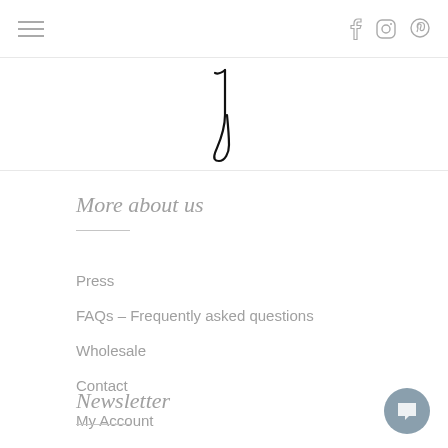Navigation bar with hamburger menu and social icons (Facebook, Instagram, Pinterest)
[Figure (logo): Stylized handwritten letter Y logo in black ink]
More about us
Press
FAQs – Frequently asked questions
Wholesale
Contact
My Account
Newsletter